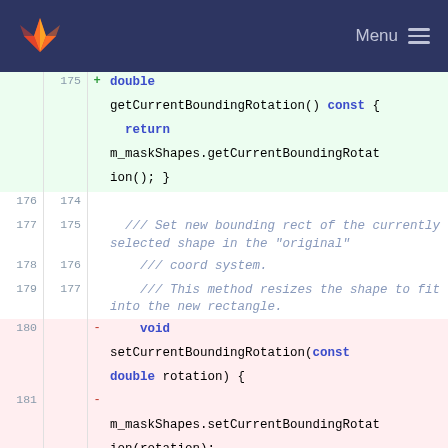GitLab Menu
175 + double getCurrentBoundingRotation() const { return m_maskShapes.getCurrentBoundingRotation(); }
176 174
177 175 /// Set new bounding rect of the currently selected shape in the "original"
178 176 /// coord system.
179 177 /// This method resizes the shape to fit into the new rectangle.
180 - void setCurrentBoundingRotation(const double rotation) {
181 - m_maskShapes.setCurrentBoundingRotation(rotation);
182 - }
178 + void